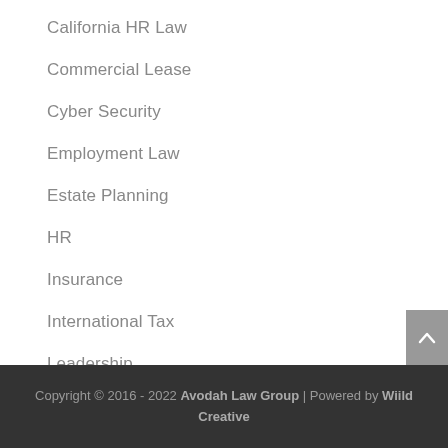California HR Law
Commercial Lease
Cyber Security
Employment Law
Estate Planning
HR
Insurance
International Tax
Leadership
Tax
Copyright © 2016 - 2022 Avodah Law Group | Powered by Wiild Creative